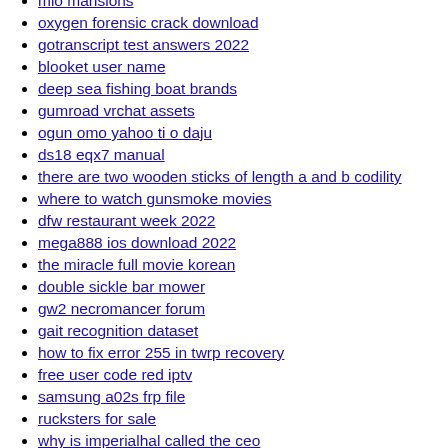mlo mansions
oxygen forensic crack download
gotranscript test answers 2022
blooket user name
deep sea fishing boat brands
gumroad vrchat assets
ogun omo yahoo ti o daju
ds18 eqx7 manual
there are two wooden sticks of length a and b codility
where to watch gunsmoke movies
dfw restaurant week 2022
mega888 ios download 2022
the miracle full movie korean
double sickle bar mower
gw2 necromancer forum
gait recognition dataset
how to fix error 255 in twrp recovery
free user code red iptv
samsung a02s frp file
rucksters for sale
why is imperialhal called the ceo
docker compose multiple containers
kyaw gyi vk
miracle xiaomi tool crack 2022
rimworld race mods